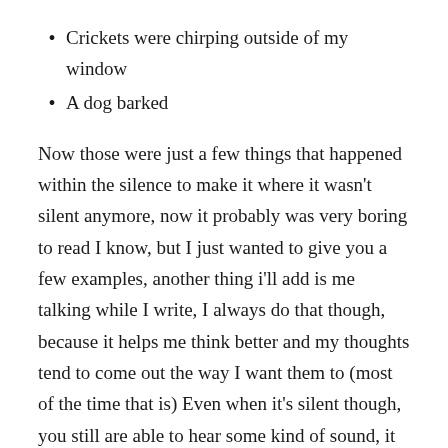Crickets were chirping outside of my window
A dog barked
Now those were just a few things that happened within the silence to make it where it wasn't silent anymore, now it probably was very boring to read I know, but I just wanted to give you a few examples, another thing i'll add is me talking while I write, I always do that though, because it helps me think better and my thoughts tend to come out the way I want them to (most of the time that is) Even when it's silent though, you still are able to hear some kind of sound, it can be a small sound or a very large one to where it may startle you a bit, but we know that after those sounds have passed, the silence will